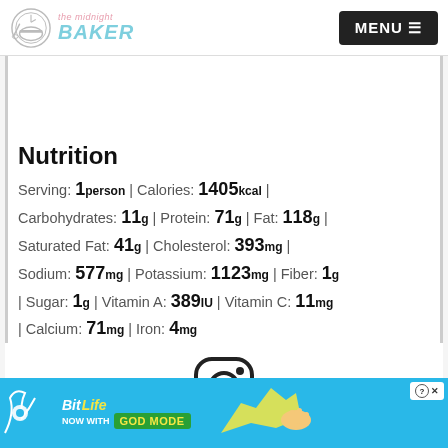The Midnight Baker — MENU
Nutrition
Serving: 1person | Calories: 1405kcal | Carbohydrates: 11g | Protein: 71g | Fat: 118g | Saturated Fat: 41g | Cholesterol: 393mg | Sodium: 577mg | Potassium: 1123mg | Fiber: 1g | Sugar: 1g | Vitamin A: 389IU | Vitamin C: 11mg | Calcium: 71mg | Iron: 4mg
[Figure (logo): Instagram icon]
[Figure (screenshot): BitLife ad banner - NOW WITH GOD MODE]